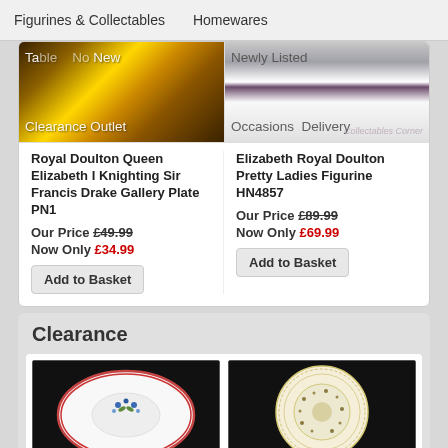Figurines & Collectables  Homewares
Takle  No New | Newly Listed
Clearance Outlet  Occasions  Delivery
[Figure (photo): Royal Doulton decorative plate with ornate gold border and scene]
[Figure (photo): Elizabeth Royal Doulton Pretty Ladies Figurine HN4857 - purple/white figurine with Collectables Corner watermark]
Royal Doulton Queen Elizabeth I Knighting Sir Francis Drake Gallery Plate PN1
Our Price £49.99
Now Only £34.99
Add to Basket
Elizabeth Royal Doulton Pretty Ladies Figurine HN4857
Our Price £89.99
Now Only £69.99
Add to Basket
Clearance
[Figure (photo): White oval saucer/plate with floral blue pattern and red border on black background]
[Figure (photo): Cream/ivory plate with delicate floral pattern on black background]